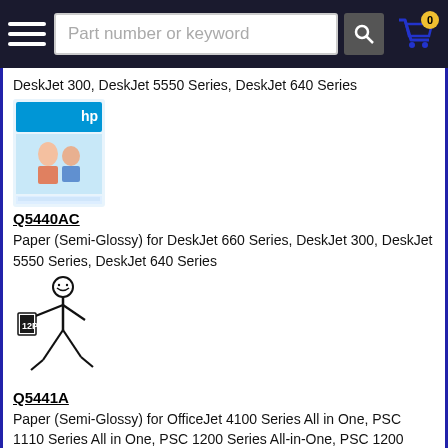Part number or keyword [search bar with cart icon showing 0]
DeskJet 300, DeskJet 5550 Series, DeskJet 640 Series
[Figure (photo): HP photo paper product box image showing a couple]
Q5440AC
Paper (Semi-Glossy) for DeskJet 660 Series, DeskJet 300, DeskJet 5550 Series, DeskJet 640 Series
[Figure (illustration): Stick figure character holding papers with '12P' label]
Q5441A
Paper (Semi-Glossy) for OfficeJet 4100 Series All in One, PSC 1110 Series All in One, PSC 1200 Series All-in-One, PSC 1200 Series All in One
[Figure (illustration): Stick figure character holding papers with '12P' label]
Q5442A